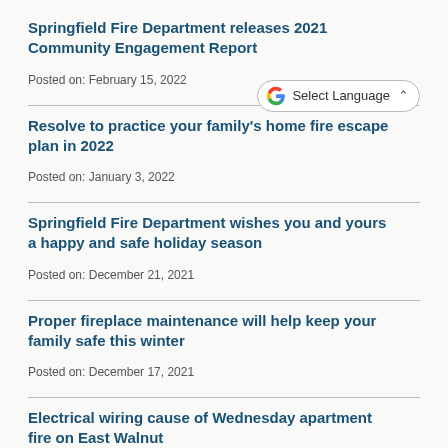Springfield Fire Department releases 2021 Community Engagement Report
Posted on: February 15, 2022
Resolve to practice your family's home fire escape plan in 2022
Posted on: January 3, 2022
Springfield Fire Department wishes you and yours a happy and safe holiday season
Posted on: December 21, 2021
Proper fireplace maintenance will help keep your family safe this winter
Posted on: December 17, 2021
Electrical wiring cause of Wednesday apartment fire on East Walnut
Posted on: December 2, 2021